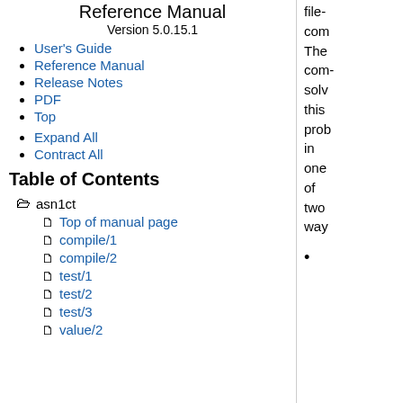Reference Manual
Version 5.0.15.1
User's Guide
Reference Manual
Release Notes
PDF
Top
Expand All
Contract All
Table of Contents
asn1ct
Top of manual page
compile/1
compile/2
test/1
test/2
test/3
value/2
file- com- The com- solv this prob in one of two way